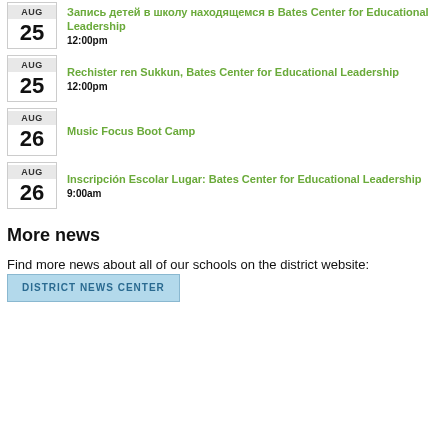AUG 25 — Запись детей в школу находящемся в Bates Center for Educational Leadership — 12:00pm
AUG 25 — Rechister ren Sukkun, Bates Center for Educational Leadership — 12:00pm
AUG 26 — Music Focus Boot Camp
AUG 26 — Inscripción Escolar Lugar: Bates Center for Educational Leadership — 9:00am
More news
Find more news about all of our schools on the district website:
DISTRICT NEWS CENTER